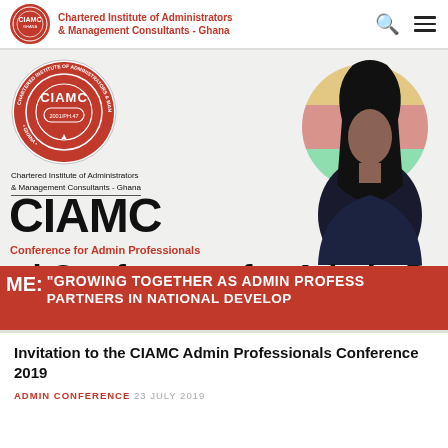Chartered Institute of Administrators & Management Consultants - Ghana
[Figure (screenshot): CIAMC banner image with organization logo (red circular seal with CIAMC text and 2001/PH.47), organization name text, large CIAMC text, 'Conference for Admin Professionals' subtitle, 'nal Conference for Admin Profess' large heading, red band with theme text 'GROWING TOGETHER AS ADMIN PROFESS PARTNERS IN NATIONAL DEVELOP', and a professional woman in business attire with Ghana flag background element]
Invitation to the CIAMC Admin Professionals Conference 2019
ADMIN CONFERENCE  23 JULY 2019